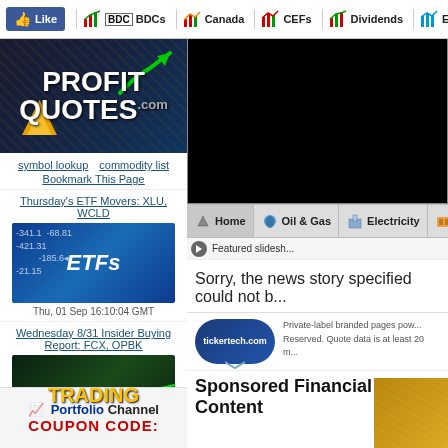Like | BDCs | Canada | CEFs | Dividends | Energy | E...
[Figure (logo): ProfitQuotes.com logo with green upward arrow and yellow triangle on dark background]
symbol lookup  commodity list  Bookmark This Page
Thursday's ETF Movers: XLU, WCLD
[Figure (photo): ETF trading screen with blue background showing stock tickers and ETFs label]
Thu, 01 Sep 16:10:04 GMT
Wednesday 8/31 Insider Buying Report: FCX, OPBK
[Figure (photo): Trading screen with green candlestick chart and TRADING label in yellow]
Wed, 31 Aug 14:39:46 GMT
[Figure (screenshot): Black advertisement banner]
Home | Oil & Gas | Electricity | Me...
Featured slidesh...
Sorry, the news story specified could not b...
[Figure (logo): Tickertech.com oval logo in blue]
Private-label branded pages pow... Reserved. Quote data is at least 20 m...
Sponsored Financial Content
[Figure (photo): Gold/financial imagery at bottom]
[Figure (screenshot): Portfolio Channel box with COUPON CODE text]
Portfolio Channel
COUPON CODE: